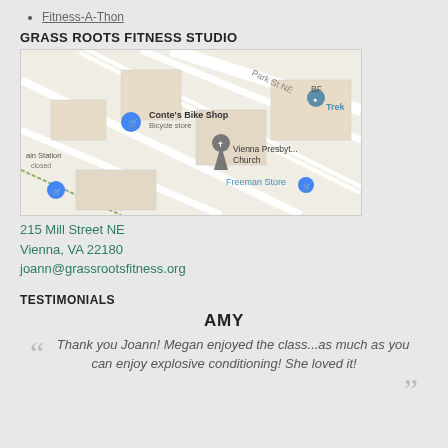Fitness-A-Thon
GRASS ROOTS FITNESS STUDIO
[Figure (map): Google Maps screenshot showing area around 215 Mill Street NE, Vienna VA 22180. Landmarks visible: Conte's Bike Shop (Bicycle store), Vienna Presbyterian Church, Freeman Store, Trek bike shop, train station (closed). Street labels include Park St NE.]
215 Mill Street NE
Vienna, VA 22180
joann@grassrootsfitness.org
TESTIMONIALS
AMY
Thank you Joann! Megan enjoyed the class...as much as you can enjoy explosive conditioning! She loved it!